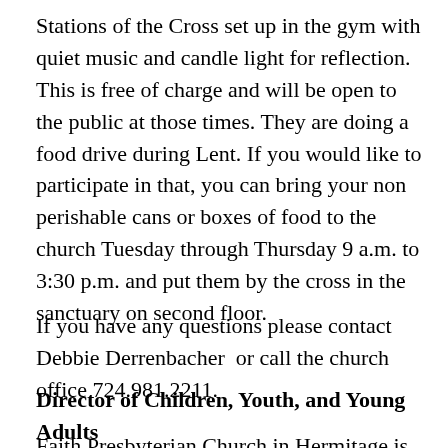Stations of the Cross set up in the gym with quiet music and candle light for reflection. This is free of charge and will be open to the public at those times. They are doing a food drive during Lent. If you would like to participate in that, you can bring your non perishable cans or boxes of food to the church Tuesday through Thursday 9 a.m. to 3:30 p.m. and put them by the cross in the sanctuary on second floor.
If you have any questions please contact Debbie Derrenbacher  or call the church office 724.981.2211.
Director of Children, Youth, and Young Adults
Faith Presbyterian Church in Hermitage is seeking a